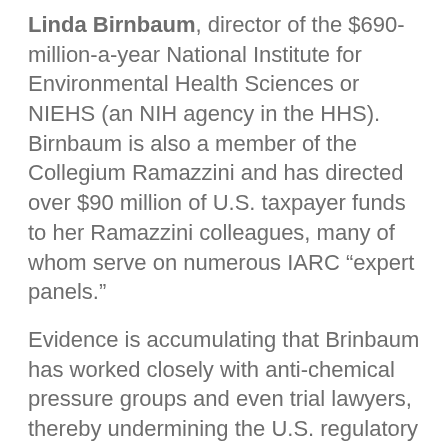Linda Birnbaum, director of the $690-million-a-year National Institute for Environmental Health Sciences or NIEHS (an NIH agency in the HHS). Birnbaum is also a member of the Collegium Ramazzini and has directed over $90 million of U.S. taxpayer funds to her Ramazzini colleagues, many of whom serve on numerous IARC “expert panels.”
Evidence is accumulating that Brinbaum has worked closely with anti-chemical pressure groups and even trial lawyers, thereby undermining the U.S. regulatory and chemical review process and perhaps ultimately forcing glyphosate off the market. She has helped to coordinate and direct these activities, and